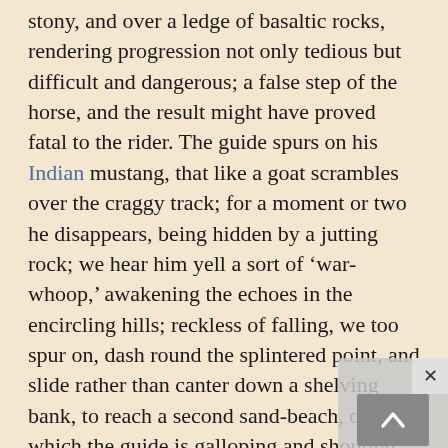stony, and over a ledge of basaltic rocks, rendering progression not only tedious but difficult and dangerous; a false step of the horse, and the result might have proved fatal to the rider. The guide spurs on his Indian mustang, that like a goat scrambles over the craggy track; for a moment or two he disappears, being hidden by a jutting rock; we hear him yell a sort of 'war-whoop,' awakening the echoes in the encircling hills; reckless of falling, we too spur on, dash round the splintered point, and slide rather than canter down a shelving bank, to reach a second sand-beach, over which the guide is galloping and shouting. We can see the fluttering garments of a girl, who is running with all her might towards the pine trees; she disappears amongst the thick foliage of the underbrush ere the guide can come up to her, but leaping from off his horse, he follows her closely and notes the spot wherein she has hidden amidst a tangle of creeping vines and maple bushes. He awaited our coming, and, motioning us to surround the place of concealment quickly, remained still as a statue whilst we arranged our little detachment so as to preclude any chance of